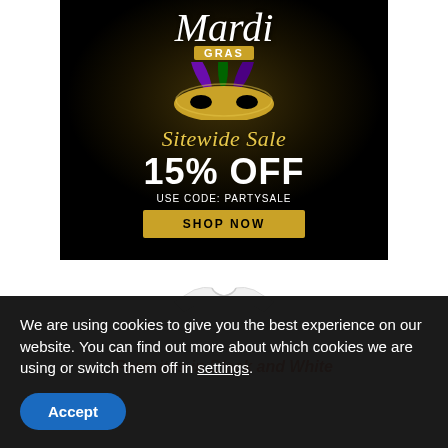[Figure (illustration): Mardi Gras sitewide sale advertisement banner on black background with gold glitter, feathered mask, script text 'Mardi Gras', 'Sitewide Sale', '15% OFF', 'USE CODE: PARTYSALE', and a gold 'SHOP NOW' button.]
[Figure (photo): White t-shirt product photo partially visible at top.]
Parasites in Black and White
We are using cookies to give you the best experience on our website. You can find out more about which cookies we are using or switch them off in settings.
Accept